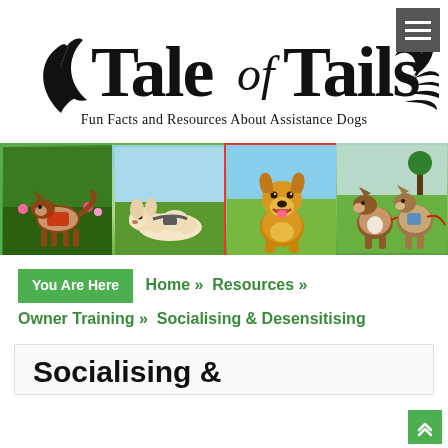[Figure (logo): Tale of Tails logo with stylized tail illustrations and tagline 'Fun Facts and Resources About Assistance Dogs']
[Figure (photo): Four dog photos side by side: a Shetland Sheepdog with harness in a garden, a cream/white fluffy dog lying on grass, a golden retriever sitting on grass smiling, and two Collies standing in a park]
You Are Here  Home »  Resources »  Owner Training »  Socialising & Desensitising
Socialising &